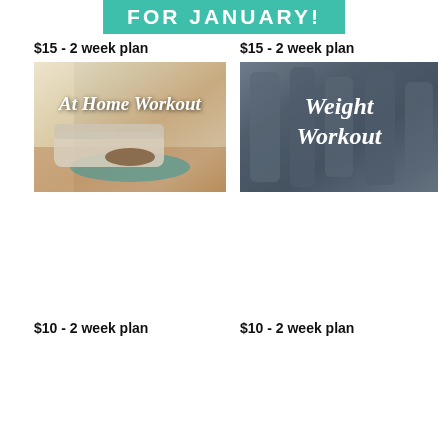FOR JANUARY!
$15 - 2 week plan
[Figure (photo): At Home Workout card with living room background image and cursive text overlay]
$15 - 2 week plan
[Figure (photo): Weight Workout card with gym/weights background image and cursive text overlay]
$10 - 2 week plan
$10 - 2 week plan